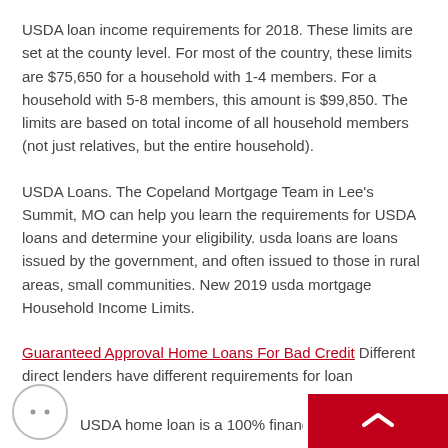USDA loan income requirements for 2018. These limits are set at the county level. For most of the country, these limits are $75,650 for a household with 1-4 members. For a household with 5-8 members, this amount is $99,850. The limits are based on total income of all household members (not just relatives, but the entire household).
USDA Loans. The Copeland Mortgage Team in Lee's Summit, MO can help you learn the requirements for USDA loans and determine your eligibility. usda loans are loans issued by the government, and often issued to those in rural areas, small communities. New 2019 usda mortgage Household Income Limits.
Guaranteed Approval Home Loans For Bad Credit Different direct lenders have different requirements for loan applicants. You will always have to fill those requirements, in order to get a loan. In most cases, "guaranteed approval loans" mean bad credit loans, payday loans and other small credits, that are quite easy to get, but never guaranteed.
USDA home loan is a 100% financing (zero down...